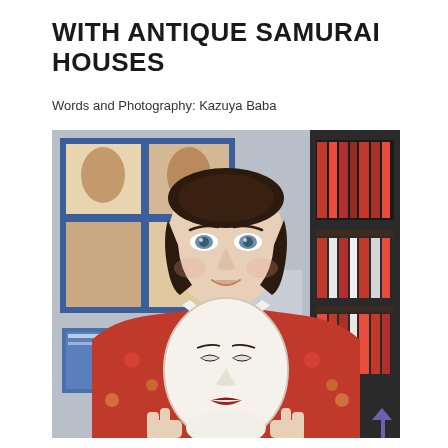WITH ANTIQUE SAMURAI HOUSES
Words and Photography: Kazuya Baba
[Figure (photo): A woman with blue eyes wearing a red/orange floral kimono and white collar holds up a white Noh theatre mask in front of her face. Behind her are bookshelves and Japanese art posters/books.]